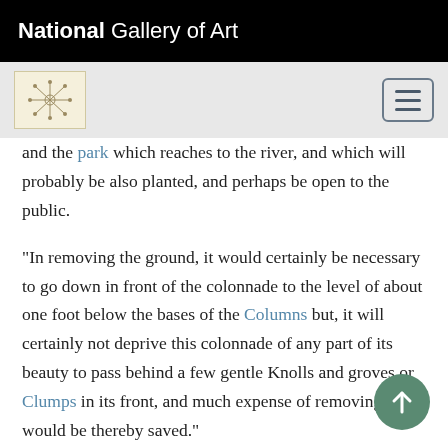National Gallery of Art
and the park which reaches to the river, and which will probably be also planted, and perhaps be open to the public.

"In removing the ground, it would certainly be necessary to go down in front of the colonnade to the level of about one foot below the bases of the Columns but, it will certainly not deprive this colonnade of any part of its beauty to pass behind a few gentle Knolls and groves or Clumps in its front, and much expense of removing earth would be thereby saved."